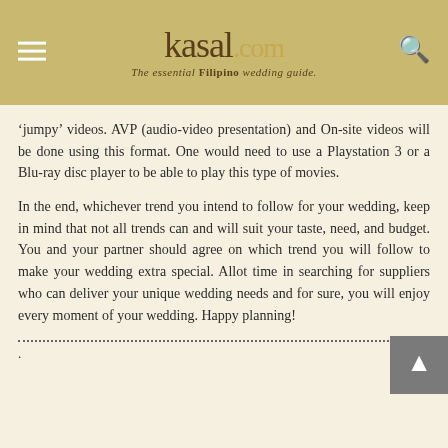kasal.com — The essential Filipino wedding guide
'jumpy' videos. AVP (audio-video presentation) and On-site videos will be done using this format. One would need to use a Playstation 3 or a Blu-ray disc player to be able to play this type of movies.
In the end, whichever trend you intend to follow for your wedding, keep in mind that not all trends can and will suit your taste, need, and budget. You and your partner should agree on which trend you will follow to make your wedding extra special. Allot time in searching for suppliers who can deliver your unique wedding needs and for sure, you will enjoy every moment of your wedding. Happy planning!